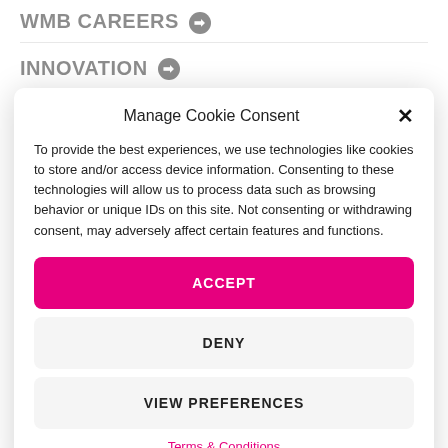WMB CAREERS ➔
INNOVATION ➔
Manage Cookie Consent
To provide the best experiences, we use technologies like cookies to store and/or access device information. Consenting to these technologies will allow us to process data such as browsing behavior or unique IDs on this site. Not consenting or withdrawing consent, may adversely affect certain features and functions.
ACCEPT
DENY
VIEW PREFERENCES
Terms & Conditions